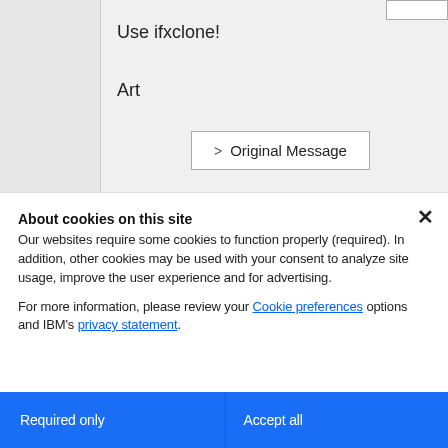Use ifxclone!
Art
> Original Message
About cookies on this site
Our websites require some cookies to function properly (required). In addition, other cookies may be used with your consent to analyze site usage, improve the user experience and for advertising.
For more information, please review your Cookie preferences options and IBM's privacy statement.
Required only
Accept all